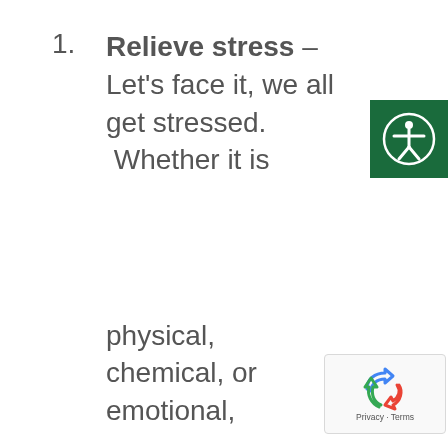Relieve stress – Let's face it, we all get stressed. Whether it is
[Figure (logo): Accessibility icon: white person with arms outstretched in a circle on a dark green background]
physical, chemical, or emotional,
[Figure (logo): Google reCAPTCHA badge with recycling-style arrows logo and 'Privacy - Terms' text]